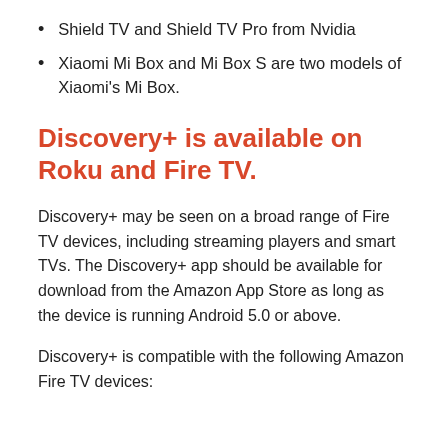Shield TV and Shield TV Pro from Nvidia
Xiaomi Mi Box and Mi Box S are two models of Xiaomi's Mi Box.
Discovery+ is available on Roku and Fire TV.
Discovery+ may be seen on a broad range of Fire TV devices, including streaming players and smart TVs. The Discovery+ app should be available for download from the Amazon App Store as long as the device is running Android 5.0 or above.
Discovery+ is compatible with the following Amazon Fire TV devices: